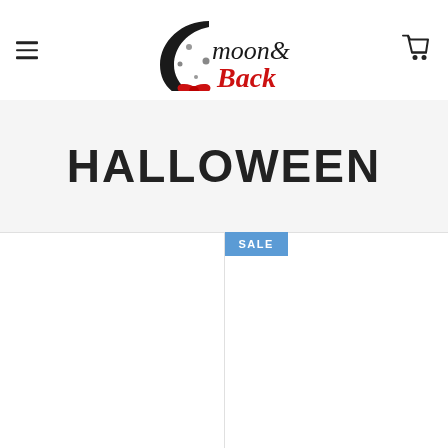Moon & Back — Navigation header with hamburger menu, logo, and cart icon
HALLOWEEN
[Figure (other): Two product image placeholders in a two-column grid. Right column has a SALE badge in blue.]